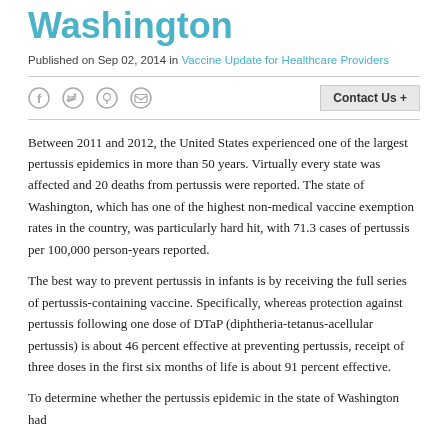Washington
Published on Sep 02, 2014 in Vaccine Update for Healthcare Providers
Between 2011 and 2012, the United States experienced one of the largest pertussis epidemics in more than 50 years. Virtually every state was affected and 20 deaths from pertussis were reported. The state of Washington, which has one of the highest non-medical vaccine exemption rates in the country, was particularly hard hit, with 71.3 cases of pertussis per 100,000 person-years reported.
The best way to prevent pertussis in infants is by receiving the full series of pertussis-containing vaccine. Specifically, whereas protection against pertussis following one dose of DTaP (diphtheria-tetanus-acellular pertussis) is about 46 percent effective at preventing pertussis, receipt of three doses in the first six months of life is about 91 percent effective.
To determine whether the pertussis epidemic in the state of Washington had